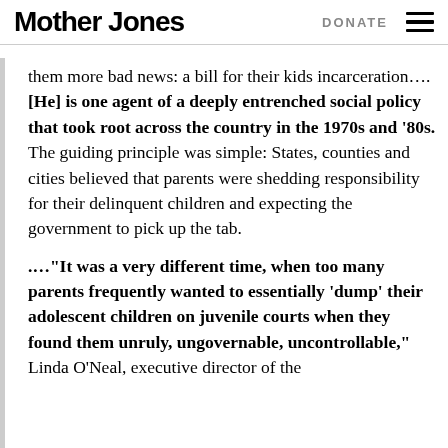Mother Jones | DONATE
them more bad news: a bill for their kids incarceration....[He] is one agent of a deeply entrenched social policy that took root across the country in the 1970s and '80s. The guiding principle was simple: States, counties and cities believed that parents were shedding responsibility for their delinquent children and expecting the government to pick up the tab.
...."It was a very different time, when too many parents frequently wanted to essentially 'dump' their adolescent children on juvenile courts when they found them unruly, ungovernable, uncontrollable," Linda O'Neal, executive director of the